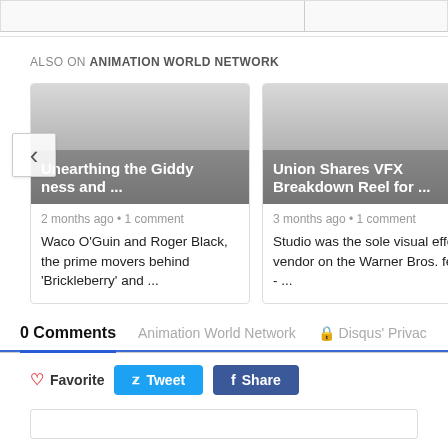ALSO ON ANIMATION WORLD NETWORK
[Figure (screenshot): Card with gradient image header showing text 'Unearthing the Giddy ness and ...' with a left arrow navigation button overlay]
2 months ago • 1 comment
Waco O'Guin and Roger Black, the prime movers behind 'Brickleberry' and ...
[Figure (screenshot): Card with gradient image header showing text 'Union Shares VFX Breakdown Reel for ...']
3 months ago • 1 comment
Studio was the sole visual effects vendor on the Warner Bros. feature - ...
0 Comments    Animation World Network    🔒 Disqus' Privac
♡ Favorite    Tweet    f Share